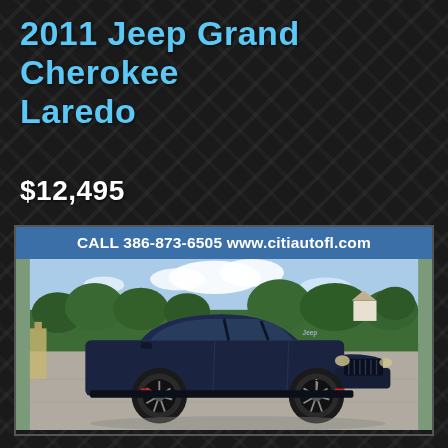2011 Jeep Grand Cherokee Laredo
$12,495
CALL 386-873-6505 www.citiautofl.com
[Figure (photo): Dark blue 2011 Jeep Grand Cherokee Laredo parked in a lot, front 3/4 view, with custom dark wheels and red brake calipers. Green trees and partly cloudy sky in background.]